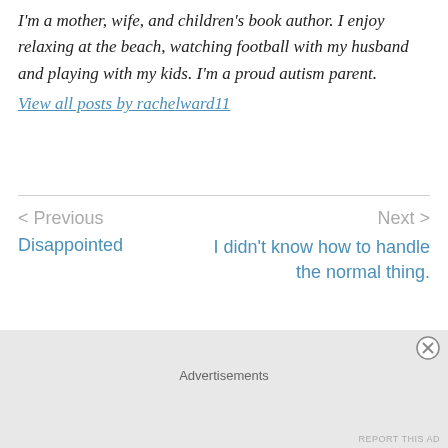I'm a mother, wife, and children's book author. I enjoy relaxing at the beach, watching football with my husband and playing with my kids. I'm a proud autism parent. View all posts by rachelward11
< Previous
Disappointed
Next >
I didn't know how to handle the normal thing.
20 comments
Advertisements